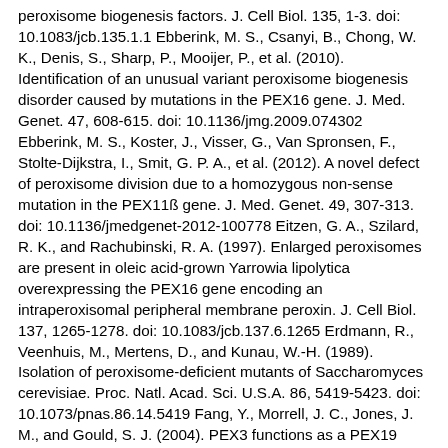peroxisome biogenesis factors. J. Cell Biol. 135, 1-3. doi: 10.1083/jcb.135.1.1 Ebberink, M. S., Csanyi, B., Chong, W. K., Denis, S., Sharp, P., Mooijer, P., et al. (2010). Identification of an unusual variant peroxisome biogenesis disorder caused by mutations in the PEX16 gene. J. Med. Genet. 47, 608-615. doi: 10.1136/jmg.2009.074302 Ebberink, M. S., Koster, J., Visser, G., Van Spronsen, F., Stolte-Dijkstra, I., Smit, G. P. A., et al. (2012). A novel defect of peroxisome division due to a homozygous non-sense mutation in the PEX11ß gene. J. Med. Genet. 49, 307-313. doi: 10.1136/jmedgenet-2012-100778 Eitzen, G. A., Szilard, R. K., and Rachubinski, R. A. (1997). Enlarged peroxisomes are present in oleic acid-grown Yarrowia lipolytica overexpressing the PEX16 gene encoding an intraperoxisomal peripheral membrane peroxin. J. Cell Biol. 137, 1265-1278. doi: 10.1083/jcb.137.6.1265 Erdmann, R., Veenhuis, M., Mertens, D., and Kunau, W.-H. (1989). Isolation of peroxisome-deficient mutants of Saccharomyces cerevisiae. Proc. Natl. Acad. Sci. U.S.A. 86, 5419-5423. doi: 10.1073/pnas.86.14.5419 Fang, Y., Morrell, J. C., Jones, J. M., and Gould, S. J. (2004). PEX3 functions as a PEX19 docking factor in the import of class I peroxisomal membrane proteins.